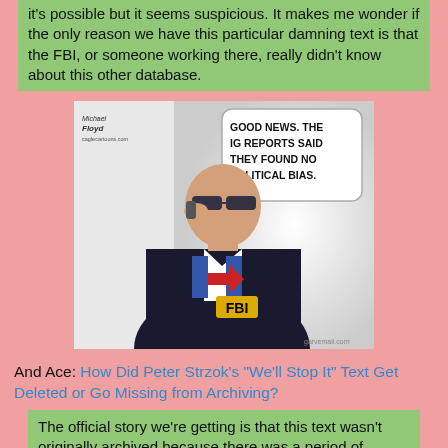it's possible but it seems suspicious. It makes me wonder if the only reason we have this particular damning text is that the FBI, or someone working there, really didn't know about this other database.
[Figure (illustration): Political cartoon showing a man in a dark suit with an FBI badge and a Hillary Clinton campaign logo on his shirt, talking on a phone. A speech bubble reads: 'GOOD NEWS. THE IG REPORTS SAID THEY FOUND NO POLITICAL BIAS.' Watermark: garvemail.com. Artist signature at top left.]
And Ace: How Did Peter Strzok's "We'll Stop It" Text Get Deleted or Go Missing from Archiving?
The official story we're getting is that this text wasn't originally archived because there was a period of several months when the automatic-